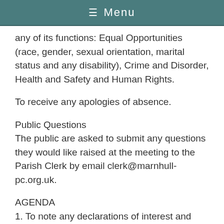≡ Menu
any of its functions: Equal Opportunities (race, gender, sexual orientation, marital status and any disability), Crime and Disorder, Health and Safety and Human Rights.
To receive any apologies of absence.
Public Questions
The public are asked to submit any questions they would like raised at the meeting to the Parish Clerk by email clerk@marnhull-pc.org.uk.
AGENDA
1. To note any declarations of interest and requests for dispensation.